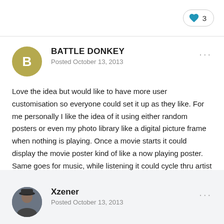[Figure (other): Like button with heart icon showing count 3]
BATTLE DONKEY
Posted October 13, 2013
Love the idea but would like to have more user customisation so everyone could set it up as they like. For me personally I like the idea of it using either random posters or even my photo library like a digital picture frame when nothing is playing. Once a movie starts it could display the movie poster kind of like a now playing poster. Same goes for music, while listening it could cycle thru artist info n backdrops if possible. Then once media stops it would go back to photos n act like a normal digital photo frame. That's just my thoughts tho. I would like to see what other people do with a second screen like that
Xzener
Posted October 13, 2013